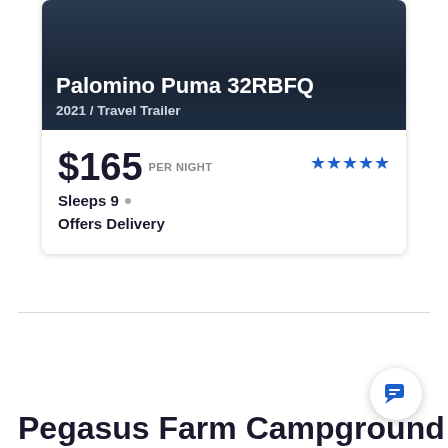[Figure (photo): Dark photo of a travel trailer at night with navy/dark blue overlay]
Palomino Puma 32RBFQ
2021 / Travel Trailer
$165 PER NIGHT
[Figure (other): Five blue stars rating]
Sleeps 9
Offers Delivery
Pegasus Farm Campground